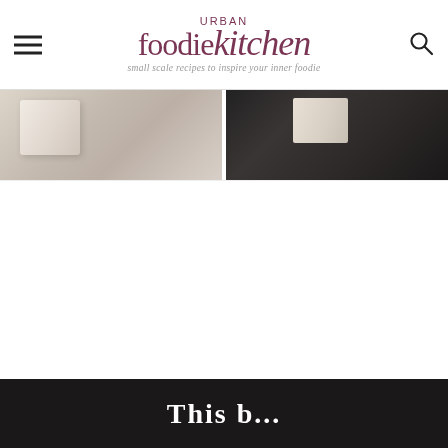URBAN foodiekitchen — small scale recipes to inspire your inner foodie
[Figure (photo): Close-up food photo on light background, showing baked/pastry item]
[Figure (photo): Food photo on dark background with spoon and dipping sauce]
This b...